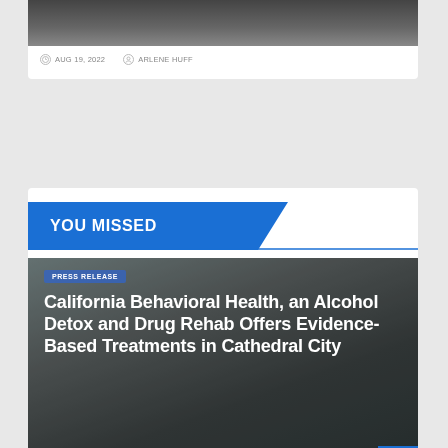[Figure (photo): Dark background photo (partial, top of card), with date and author metadata below]
AUG 19, 2022  ARLENE HUFF
YOU MISSED
PRESS RELEASE
California Behavioral Health, an Alcohol Detox and Drug Rehab Offers Evidence-Based Treatments in Cathedral City
AUG 19, 2022  ARLENE HUFF